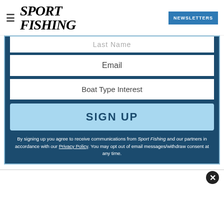SPORT FISHING | NEWSLETTERS
Last Name
Email
Boat Type Interest
SIGN UP
By signing up you agree to receive communications from Sport Fishing and our partners in accordance with our Privacy Policy. You may opt out of email messages/withdraw consent at any time.